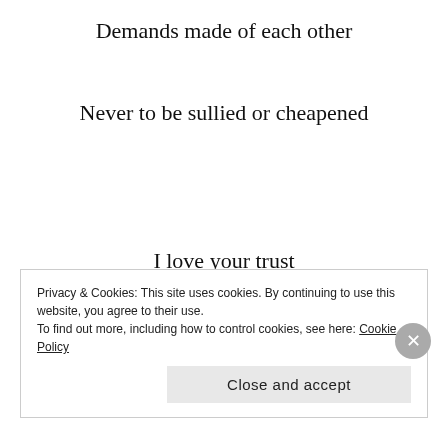Demands made of each other
Never to be sullied or cheapened
I love your trust
Am honored by you
Privacy & Cookies: This site uses cookies. By continuing to use this website, you agree to their use.
To find out more, including how to control cookies, see here: Cookie Policy
Close and accept